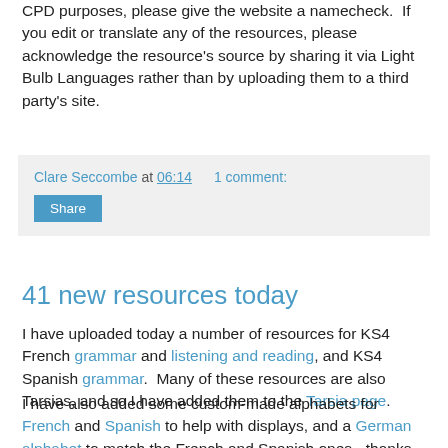CPD purposes, please give the website a namecheck.  If you edit or translate any of the resources, please acknowledge the resource's source by sharing it via Light Bulb Languages rather than by uploading them to a third party's site.
Clare Seccombe at 06:14    1 comment:  Share
41 new resources today
I have uploaded today a number of resources for KS4 French grammar and listening and reading, and KS4 Spanish grammar.  Many of these resources are also Tarsias, and so I have added them to the Tarsia page.
I have also added some custom-made alphabets for French and Spanish to help with displays, and a German alphabet to match the French and Spanish ones - thanks Nick!